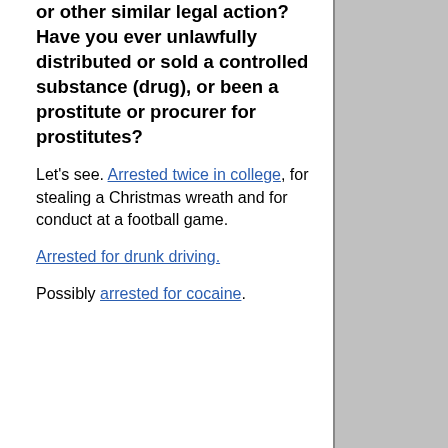or other similar legal action? Have you ever unlawfully distributed or sold a controlled substance (drug), or been a prostitute or procurer for prostitutes?
Let's see. Arrested twice in college, for stealing a Christmas wreath and for conduct at a football game.
Arrested for drunk driving.
Possibly arrested for cocaine.